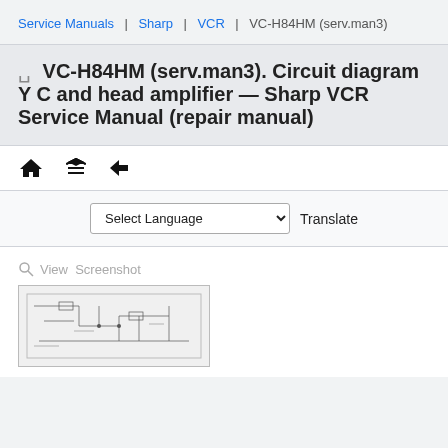Service Manuals | Sharp | VCR | VC-H84HM (serv.man3)
VC-H84HM (serv.man3). Circuit diagram Y C and head amplifier — Sharp VCR Service Manual (repair manual)
[Figure (other): Navigation icons: home, up arrow, back arrow]
Select Language  Translate
View  Screenshot
[Figure (circuit-diagram): Thumbnail preview of circuit diagram Y C and head amplifier schematic]